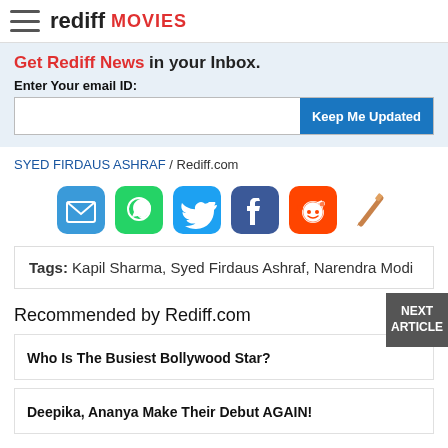rediff MOVIES
Get Rediff News in your Inbox. Enter Your email ID: [Keep Me Updated]
SYED FIRDAUS ASHRAF / Rediff.com
[Figure (infographic): Social sharing icons: email, WhatsApp, Twitter, Facebook, Reddit, pencil/edit]
Tags: Kapil Sharma, Syed Firdaus Ashraf, Narendra Modi
NEXT ARTICLE
Recommended by Rediff.com
Who Is The Busiest Bollywood Star?
Deepika, Ananya Make Their Debut AGAIN!